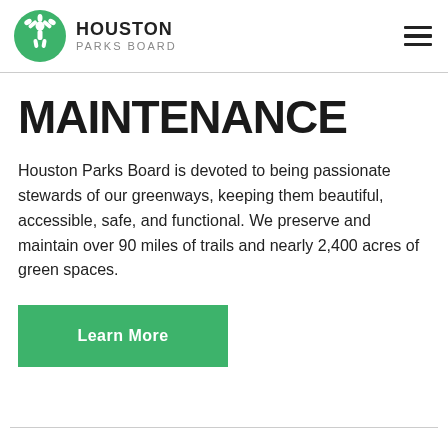Houston Parks Board
MAINTENANCE
Houston Parks Board is devoted to being passionate stewards of our greenways, keeping them beautiful, accessible, safe, and functional. We preserve and maintain over 90 miles of trails and nearly 2,400 acres of green spaces.
Learn More